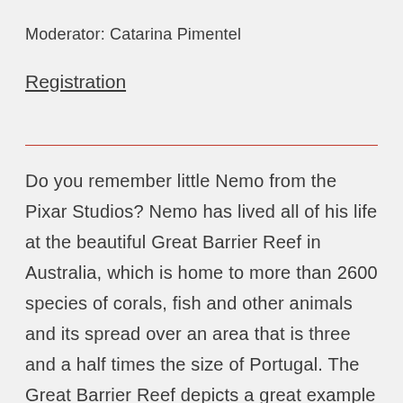Moderator: Catarina Pimentel
Registration
Do you remember little Nemo from the Pixar Studios? Nemo has lived all of his life at the beautiful Great Barrier Reef in Australia, which is home to more than 2600 species of corals, fish and other animals and its spread over an area that is three and a half times the size of Portugal. The Great Barrier Reef depicts a great example of an ecosystem breaking down with human